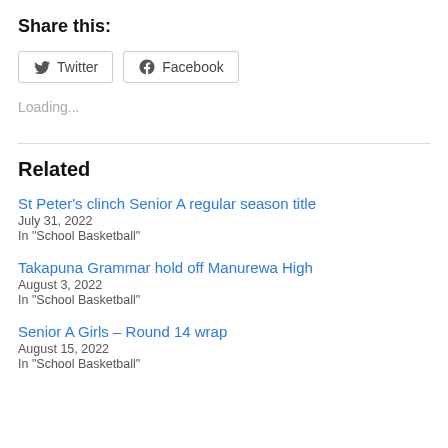Share this:
Twitter  Facebook
Loading...
Related
St Peter’s clinch Senior A regular season title
July 31, 2022
In "School Basketball"
Takapuna Grammar hold off Manurewa High
August 3, 2022
In "School Basketball"
Senior A Girls – Round 14 wrap
August 15, 2022
In "School Basketball"